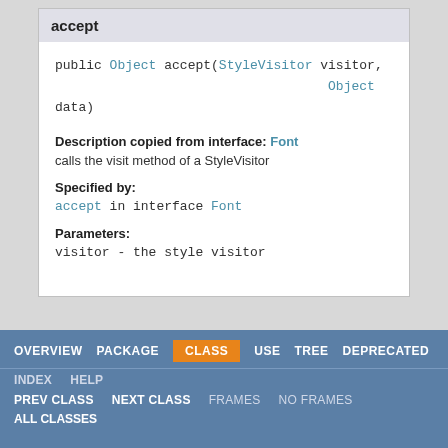accept
public Object accept(StyleVisitor visitor, Object data)
Description copied from interface: Font
calls the visit method of a StyleVisitor
Specified by:
accept in interface Font
Parameters:
visitor - the style visitor
OVERVIEW  PACKAGE  CLASS  USE  TREE  DEPRECATED
INDEX  HELP
PREV CLASS  NEXT CLASS  FRAMES  NO FRAMES
ALL CLASSES